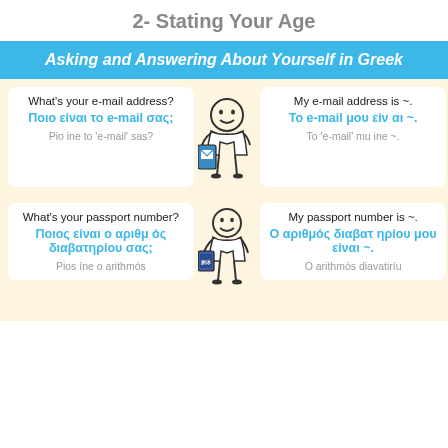2- Stating Your Age
Asking and Answering About Yourself in Greek
What's your e-mail address?
Ποιο είναι το e-mail σας;
Pio ine to 'e-mail' sas?
[Figure (illustration): Cartoon stick figure holding a smartphone/tablet with email icon]
My e-mail address is ~.
Το e-mail μου είναι ~.
To 'e-mail' mu ine ~.
What's your passport number?
Ποιος είναι ο αριθμός διαβατηρίου σας;
Pios íne o arithmós
[Figure (illustration): Cartoon stick figure holding a passport book]
My passport number is ~.
Ο αριθμός διαβατηρίου μου είναι ~.
O arithmós diavatiríu